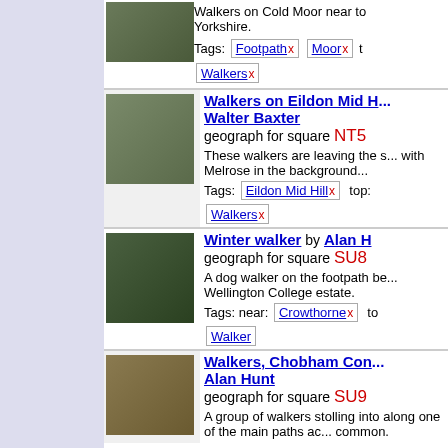Walkers on Cold Moor near to Yorkshire.
Tags: Footpath x  Moor x  Walkers x
[Figure (photo): Walkers on Eildon Mid Hill landscape photo]
Walkers on Eildon Mid H... by Walter Baxter
geograph for square NT5...
These walkers are leaving the s... with Melrose in the background...
Tags: Eildon Mid Hill x  top:  Walkers x
[Figure (photo): Winter walker on footpath photo]
Winter walker by Alan H...
geograph for square SU8...
A dog walker on the footpath be... Wellington College estate.
Tags: near: Crowthorne x  to  Walker
[Figure (photo): Walkers Chobham Common landscape photo]
Walkers, Chobham Con... by Alan Hunt
geograph for square SU9...
A group of walkers stolling into along one of the main paths ac... common.